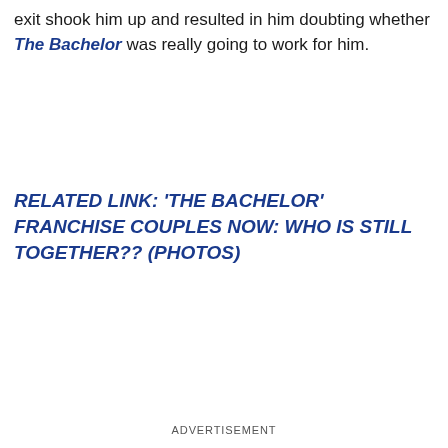exit shook him up and resulted in him doubting whether The Bachelor was really going to work for him.
RELATED LINK: 'THE BACHELOR' FRANCHISE COUPLES NOW: WHO IS STILL TOGETHER?? (PHOTOS)
ADVERTISEMENT